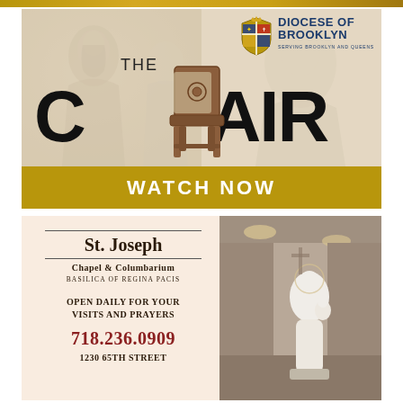[Figure (illustration): Diocese of Brooklyn advertisement for 'The Chair' documentary. Features a large wooden chair image in center, faded religious figure on left background, Diocese of Brooklyn crest logo top right, 'THE CHAIR' text in large bold letters, and a gold 'WATCH NOW' banner at bottom.]
[Figure (illustration): St. Joseph Chapel & Columbarium advertisement. Left side on peach background shows name, subtitle 'Basilica of Regina Pacis', 'Open Daily for Your Visits and Prayers', phone 718.236.0909, address 1230 65th Street. Right side shows interior church photo with white statue.]